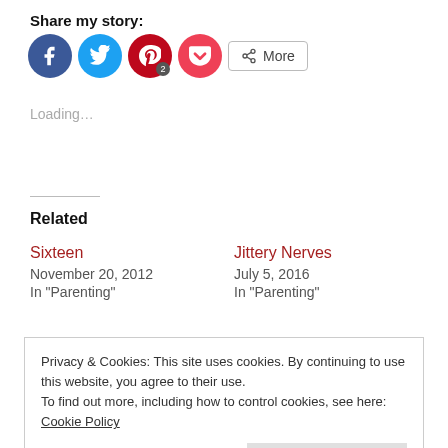Share my story:
[Figure (infographic): Social share buttons: Facebook (blue circle), Twitter (light blue circle), Pinterest (red circle with badge '2'), Pocket (red circle), and a 'More' button with share icon]
Loading...
Related
Sixteen
November 20, 2012
In "Parenting"
Jittery Nerves
July 5, 2016
In "Parenting"
Privacy & Cookies: This site uses cookies. By continuing to use this website, you agree to their use.
To find out more, including how to control cookies, see here: Cookie Policy
Close and accept